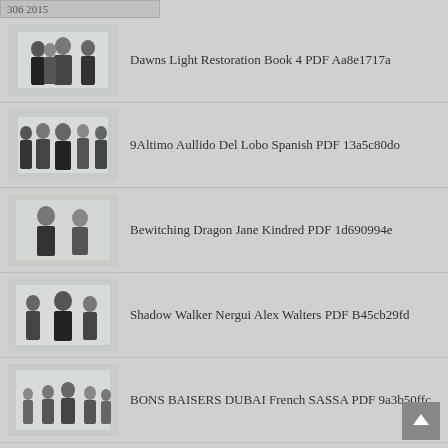306 2015
Dawns Light Restoration Book 4 PDF Aa8e1717a
9Altimo Aullido Del Lobo Spanish PDF 13a5c80do
Bewitching Dragon Jane Kindred PDF 1d690994e
Shadow Walker Nergui Alex Walters PDF B45cb29fd
BONS BAISERS DUBAI French SASSA PDF 9a3b50ffc
Vengeance DAntoine French RICHARD SANSCHAGRIN PDF 59d1f7a28